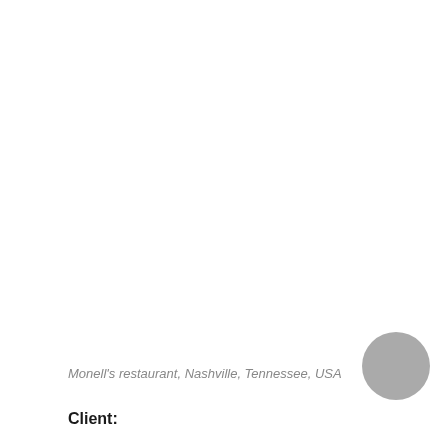Monell's restaurant, Nashville, Tennessee, USA
[Figure (other): A grey circle, possibly a decorative element or partial image placeholder, located in the bottom-right area of the page.]
Client: